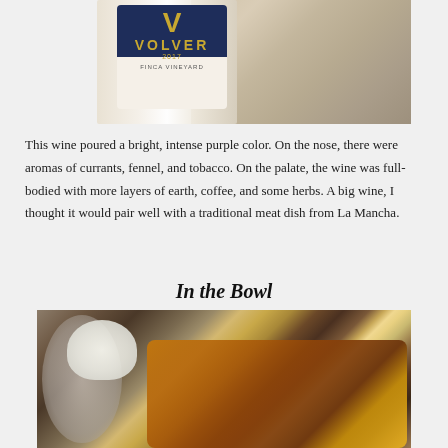[Figure (photo): Close-up photo of a Volver 2017 wine bottle label, white bottle body, on a textured background]
This wine poured a bright, intense purple color. On the nose, there were aromas of currants, fennel, and tobacco. On the palate, the wine was full-bodied with more layers of earth, coffee, and some herbs. A big wine, I thought it would pair well with a traditional meat dish from La Mancha.
In the Bowl
[Figure (photo): Photo of a bowl containing rice and meat stew with vegetables in a golden-brown broth]